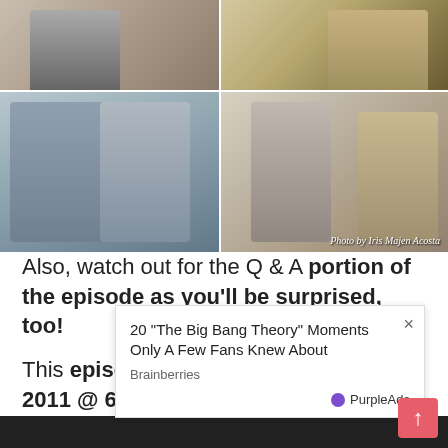[Figure (photo): Grid of TV show photos showing couples and hosts on a talk show set. Top row has two photos of people sitting/talking. Bottom row shows a couple embracing on a couch (left) and a man and woman on a talk show set with plants and artwork (right). Photo credit: Photo by Iris Majen Acosta.]
Also, watch out for the Q & A portion of the episode as you'll be surprised, too!
This episode will be aired on June 18, 2011 @ 630PM with 10PM rerun
Watch Moments on Net25 every Saturday
6:30p
[Figure (screenshot): Advertisement overlay popup: '20 "The Big Bang Theory" Moments Only A Few Fans Knew About' from Brainberries, with PurpleAds branding and a close (x) button.]